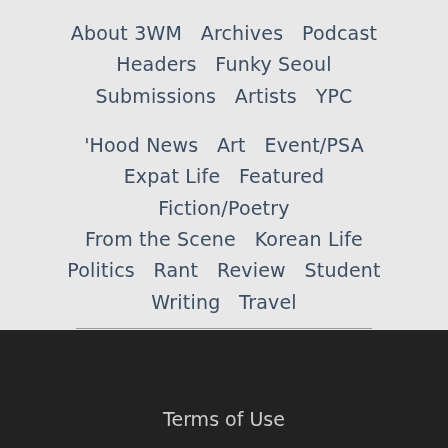About 3WM   Archives   Podcast
Headers   Funky Seoul
Submissions   Artists   YPC
'Hood News   Art   Event/PSA
Expat Life   Featured
Fiction/Poetry
From the Scene   Korean Life
Politics   Rant   Review   Student
Writing   Travel
Log in or register to post comments
Terms of Use